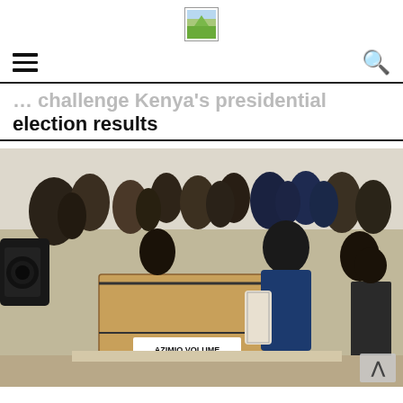[Figure (logo): Website logo icon - small square with green/landscape graphic]
... challenge Kenya's presidential election results
[Figure (photo): Photo of a man in a blue jacket labeled AZIMIO VOLUME 34 on a cardboard box, surrounded by a crowd of people in an indoor venue. The box has a tape seal. The scene appears to be at an election results challenge event.]